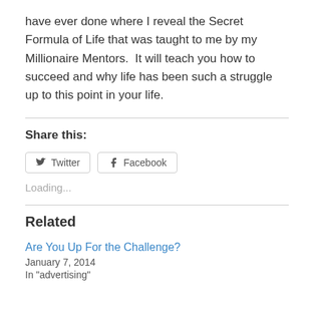have ever done where I reveal the Secret Formula of Life that was taught to me by my Millionaire Mentors.  It will teach you how to succeed and why life has been such a struggle up to this point in your life.
Share this:
[Figure (other): Twitter and Facebook share buttons]
Loading...
Related
Are You Up For the Challenge?
January 7, 2014
In "advertising"